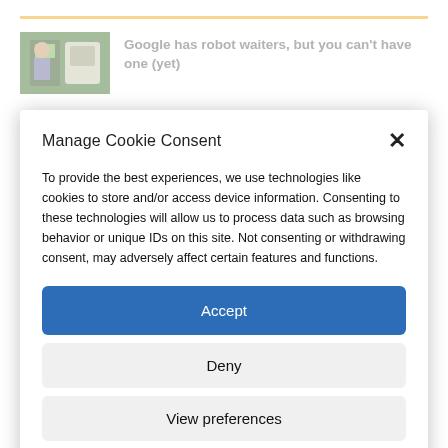[Figure (photo): Article thumbnail showing a person near a robot/machine in a restaurant or kitchen setting]
Google has robot waiters, but you can't have one (yet)
Manage Cookie Consent
To provide the best experiences, we use technologies like cookies to store and/or access device information. Consenting to these technologies will allow us to process data such as browsing behavior or unique IDs on this site. Not consenting or withdrawing consent, may adversely affect certain features and functions.
Accept
Deny
View preferences
Terms and Conditions of Service   Privacy Policy